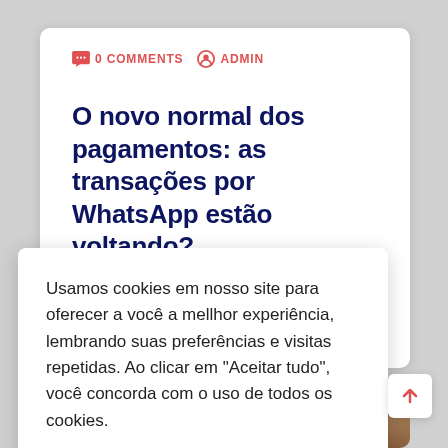0 COMMENTS   ADMIN
O novo normal dos pagamentos: as transações por WhatsApp estão voltando?
Usamos cookies em nosso site para oferecer a você a mellhor experiência, lembrando suas preferências e visitas repetidas. Ao clicar em "Aceitar tudo", você concorda com o uso de todos os cookies.
Configurações   Aceito